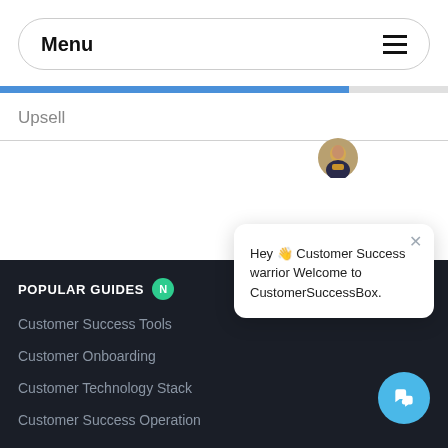Menu
Upsell
POPULAR GUIDES
Customer Success Tools
Customer Onboarding
Customer Technology Stack
Customer Success Operation
[Figure (screenshot): Chat popup with avatar showing 'Hey 👋 Customer Success warrior Welcome to CustomerSuccessBox.']